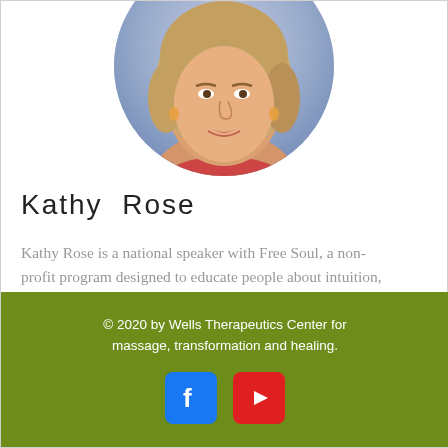[Figure (photo): Circular cropped headshot photo of Kathy Rose, a woman with shoulder-length blonde hair, smiling, wearing a red top and earrings, against a purple/blue bokeh background.]
Kathy Rose
Kathy Rose is a national speaker with Free Soul, a non-profit program designed to educate people about intuition, meditation and biofeedback and empower them to use these inborn
See more...
© 2020 by Wells Therapeutics Center for massage, transformation and healing.